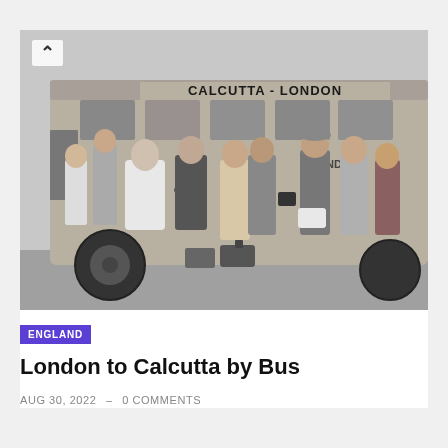[Figure (photo): Black and white historical photograph of a group of people boarding or gathering beside a bus labeled 'CALCUTTA - LONDON' on its side. Multiple men and women in mid-20th century clothing stand in front of the bus. A man in a white jacket faces the bus door.]
ENGLAND
London to Calcutta by Bus
AUG 30, 2022 – 0 COMMENTS